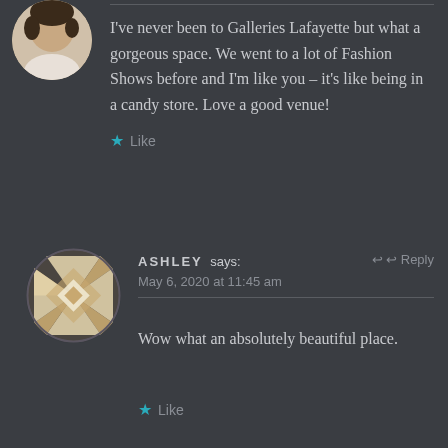[Figure (illustration): Circular avatar of a person (partially visible at top-left)]
I've never been to Galleries Lafayette but what a gorgeous space. We went to a lot of Fashion Shows before and I'm like you – it's like being in a candy store. Love a good venue!
★ Like
[Figure (illustration): Circular avatar with geometric quilt/diamond pattern in gold and white]
ASHLEY says: May 6, 2020 at 11:45 am ↩ Reply
Wow what an absolutely beautiful place.
★ Like